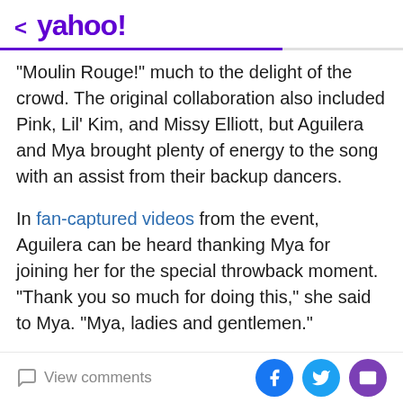< yahoo!
"Moulin Rouge!" much to the delight of the crowd. The original collaboration also included Pink, Lil' Kim, and Missy Elliott, but Aguilera and Mya brought plenty of energy to the song with an assist from their backup dancers.
In fan-captured videos from the event, Aguilera can be heard thanking Mya for joining her for the special throwback moment. "Thank you so much for doing this," she said to Mya. "Mya, ladies and gentlemen."
Mya and Aguilera's reunion was far from the only nostalgic moment of the night. Prior to performing "Lady Marmalade," the "Beautiful" singer brought out Kim
View comments